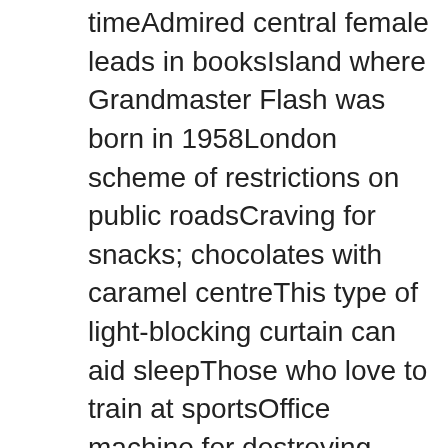timeAdmired central female leads in booksIsland where Grandmaster Flash was born in 1958London scheme of restrictions on public roadsCraving for snacks; chocolates with caramel centreThis type of light-blocking curtain can aid sleepThose who love to train at sportsOffice machine for destroying paper documentsUS name for what Brits call aubergineX-Wings TIE or Cylon Raiders for exampleCaped __ Batmans nicknameNo longer used out of dateCurrency unit of Spain before the euroPaul McCartneys fashion designer daughterA deep brass sound associated with polka musicAuthor Neil who wrote Coraline and StardustPerson who sacrifices themself for a causeThe silvery-white metal with the atomic number 28Predetermined meeting scheduleGandhi who was the first female PM of IndiaShape at the heart of the flags of Japan and LaosLarge white heron-like wading birdsStained sponge block to push a date stamp ontoWalt Disney